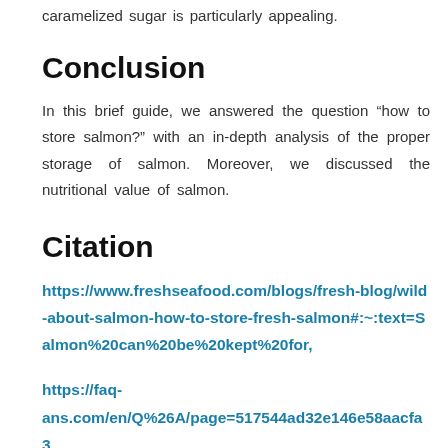caramelized sugar is particularly appealing.
Conclusion
In this brief guide, we answered the question “how to store salmon?” with an in-depth analysis of the proper storage of salmon. Moreover, we discussed the nutritional value of salmon.
Citation
https://www.freshseafood.com/blogs/fresh-blog/wild-about-salmon-how-to-store-fresh-salmon#:~:text=Salmon%20can%20be%20kept%20for,
https://faq-ans.com/en/Q%26A/page=517544ad32e146e58aacfa3